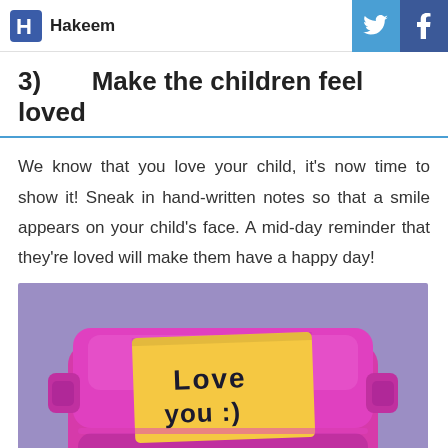Hakeem
3)   Make the children feel loved
We know that you love your child, it's now time to show it! Sneak in hand-written notes so that a smile appears on your child's face. A mid-day reminder that they're loved will make them have a happy day!
[Figure (photo): A pink plastic lunchbox with a yellow sticky note on top that reads 'Love you :)' in hand-written text, set against a purple background.]